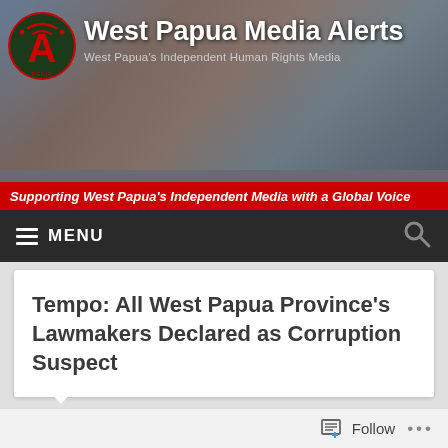West Papua Media Alerts – West Papua's Independent Human Rights Media – Supporting West Papua's Independent Media with a Global Voice
[Figure (logo): West Papua Media Alerts logo: red letter A with radio signal waves on a circular emblem]
Tempo: All West Papua Province's Lawmakers Declared as Corruption Suspect